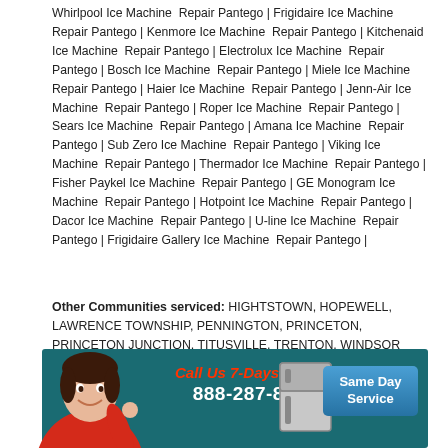Whirlpool Ice Machine Repair Pantego | Frigidaire Ice Machine Repair Pantego | Kenmore Ice Machine Repair Pantego | Kitchenaid Ice Machine Repair Pantego | Electrolux Ice Machine Repair Pantego | Bosch Ice Machine Repair Pantego | Miele Ice Machine Repair Pantego | Haier Ice Machine Repair Pantego | Jenn-Air Ice Machine Repair Pantego | Roper Ice Machine Repair Pantego | Sears Ice Machine Repair Pantego | Amana Ice Machine Repair Pantego | Sub Zero Ice Machine Repair Pantego | Viking Ice Machine Repair Pantego | Thermador Ice Machine Repair Pantego | Fisher Paykel Ice Machine Repair Pantego | GE Monogram Ice Machine Repair Pantego | Hotpoint Ice Machine Repair Pantego | Dacor Ice Machine Repair Pantego | U-line Ice Machine Repair Pantego | Frigidaire Gallery Ice Machine Repair Pantego |
Other Communities serviced: HIGHTSTOWN, HOPEWELL, LAWRENCE TOWNSHIP, PENNINGTON, PRINCETON, PRINCETON JUNCTION, TITUSVILLE, TRENTON, WINDSOR
[Figure (infographic): Banner with a smiling woman in red shirt on the left, teal background, red italic text 'Call Us 7-Days a Week', white phone number '888-287-8009', blue 'Same Day Service' button on the right, small refrigerator icon.]